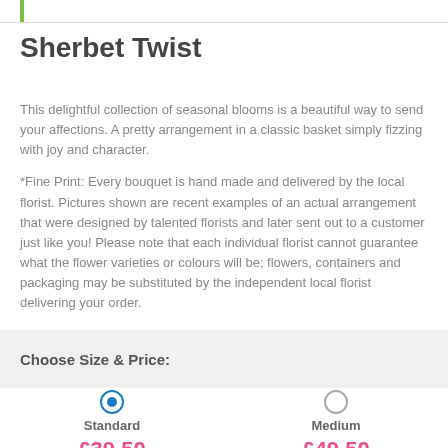Sherbet Twist
This delightful collection of seasonal blooms is a beautiful way to send your affections. A pretty arrangement in a classic basket simply fizzing with joy and character.
*Fine Print: Every bouquet is hand made and delivered by the local florist. Pictures shown are recent examples of an actual arrangement that were designed by talented florists and later sent out to a customer just like you! Please note that each individual florist cannot guarantee what the flower varieties or colours will be; flowers, containers and packaging may be substituted by the independent local florist delivering your order.
Choose Size & Price:
Standard £39.50
Medium £49.50